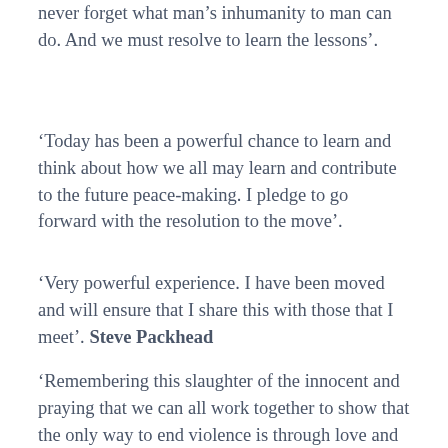never forget what man's inhumanity to man can do. And we must resolve to learn the lessons'.
'Today has been a powerful chance to learn and think about how we all may learn and contribute to the future peace-making. I pledge to go forward with the resolution to the move'.
'Very powerful experience. I have been moved and will ensure that I share this with those that I meet'. Steve Packhead
'Remembering this slaughter of the innocent and praying that we can all work together to show that the only way to end violence is through love and hope'.